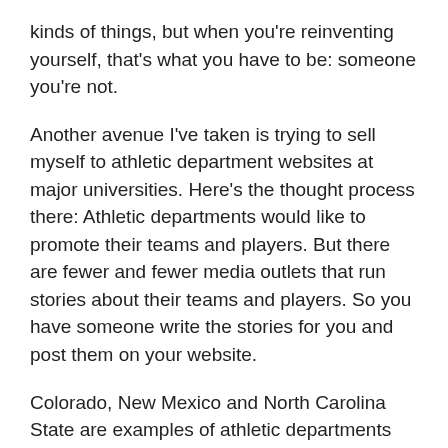kinds of things, but when you're reinventing yourself, that's what you have to be: someone you're not.
Another avenue I've taken is trying to sell myself to athletic department websites at major universities. Here's the thought process there: Athletic departments would like to promote their teams and players. But there are fewer and fewer media outlets that run stories about their teams and players. So you have someone write the stories for you and post them on your website.
Colorado, New Mexico and North Carolina State are examples of athletic departments where former sportswriters have been hired to do this. I approached the University of Idaho to write about the Vandals and got a good reception. I've written one story and have another pending but nothing in terms of full-time employment.
Where I really thought I might have a shot is at my alma mater,